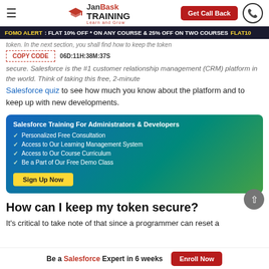JanBask Training - Learn and Grow | Get Call Back
FOMO ALERT : FLAT 10% OFF * ON ANY COURSE & 25% OFF ON TWO COURSES FLAT10 | COPY CODE | 06D:11H:38M:37S
token. In the next section, you shall find how to keep the token secure. Salesforce is the #1 customer relationship management (CRM) platform in the world. Think of taking this free, 2-minute Salesforce quiz to see how much you know about the platform and to keep up with new developments.
[Figure (infographic): Salesforce Training For Administrators & Developers promotional box with gradient blue-green background listing: Personalized Free Consultation, Access to Our Learning Management System, Access to Our Course Curriculum, Be a Part of Our Free Demo Class, and a Sign Up Now button]
How can I keep my token secure?
It's critical to take note of that since a programmer can reset a
Be a Salesforce Expert in 6 weeks | Enroll Now